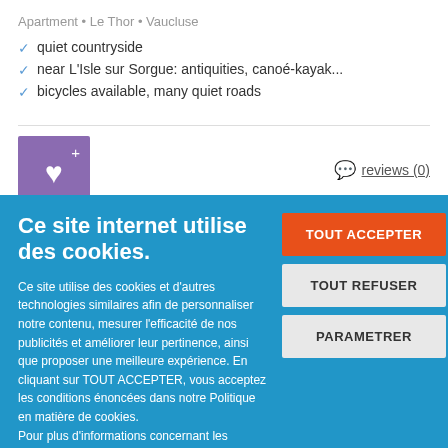Apartment • Le Thor • Vaucluse
quiet countryside
near L'Isle sur Sorgue: antiquities, canoé-kayak...
bicycles available, many quiet roads
reviews (0)
Ce site internet utilise des cookies.
Ce site utilise des cookies et d'autres technologies similaires afin de personnaliser notre contenu, mesurer l'efficacité de nos publicités et améliorer leur pertinence, ainsi que proposer une meilleure expérience. En cliquant sur TOUT ACCEPTER, vous acceptez les conditions énoncées dans notre Politique en matière de cookies.
Pour plus d'informations concernant les modalités d'utilisation des cookies, consultez notre politique de confidentialité.
Pour modifier vos préférences, vous devez mettre paramétrer vos préférences de cookies.
TOUT ACCEPTER
TOUT REFUSER
PARAMETRER